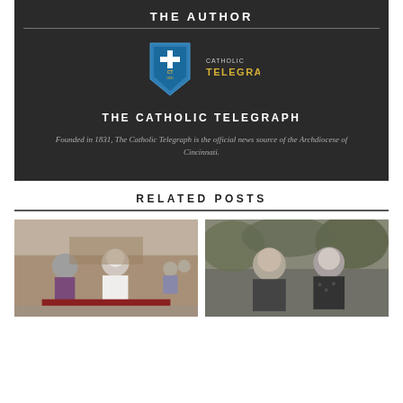THE AUTHOR
[Figure (logo): The Catholic Telegraph shield logo with cross and 'CT 1831' emblem, blue/gold shield, with 'THE CATHOLIC TELEGRAPH' text beside it]
THE CATHOLIC TELEGRAPH
Founded in 1831, The Catholic Telegraph is the official news source of the Archdiocese of Cincinnati.
RELATED POSTS
[Figure (photo): Black and white photo of two clergy figures seated outdoors, one in white papal vestments]
[Figure (photo): Black and white photo of a man and woman seated together outdoors]